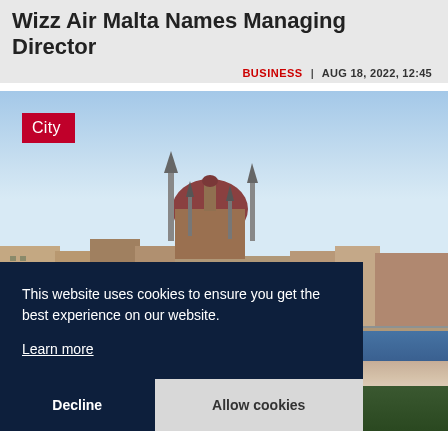Wizz Air Malta Names Managing Director
BUSINESS | AUG 18, 2022, 12:45
[Figure (photo): Aerial city photo showing a historic European city skyline with a large domed parliament building, spires, and the river in the foreground. A red label reading 'City' is overlaid in the top-left corner. A dark navy cookie consent overlay covers the lower portion with text: 'This website uses cookies to ensure you get the best experience on our website. Learn more' and buttons 'Decline' and 'Allow cookies'.]